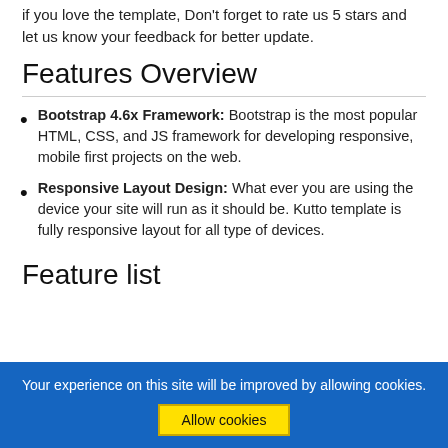if you love the template, Don't forget to rate us 5 stars and let us know your feedback for better update.
Features Overview
Bootstrap 4.6x Framework: Bootstrap is the most popular HTML, CSS, and JS framework for developing responsive, mobile first projects on the web.
Responsive Layout Design: What ever you are using the device your site will run as it should be. Kutto template is fully responsive layout for all type of devices.
Feature list
Your experience on this site will be improved by allowing cookies.
Allow cookies